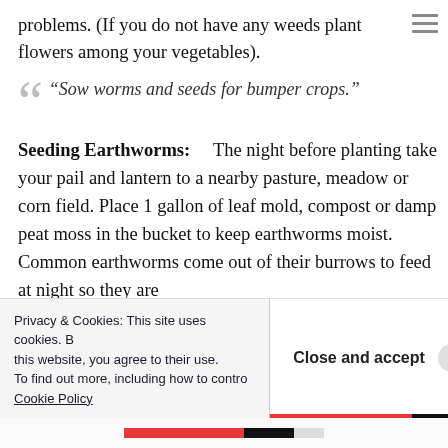problems.  (If you do not have any weeds plant flowers among your vegetables).
“Sow worms and seeds for bumper crops.”
Seeding Earthworms:    The night before planting take your pail and lantern to a nearby pasture, meadow or corn field.  Place 1 gallon of leaf mold, compost or damp peat moss in the bucket to keep earthworms moist.  Common earthworms come out of their burrows to feed at night so they are
Privacy & Cookies: This site uses cookies. By continuing to use this website, you agree to their use. To find out more, including how to control cookies, see here: Cookie Policy
Close and accept